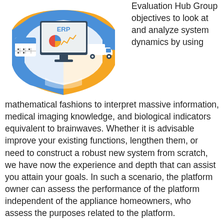[Figure (infographic): ERP infographic showing a shield with blue and orange sections containing icons: a calendar icon, a truck icon, and a computer monitor displaying a pie chart and line graph with 'ERP' text. White shield shape in the center background.]
Evaluation Hub Group objectives to look at and analyze system dynamics by using mathematical fashions to interpret massive information, medical imaging knowledge, and biological indicators equivalent to brainwaves. Whether it is advisable improve your existing functions, lengthen them, or need to construct a robust new system from scratch, we have now the experience and depth that can assist you attain your goals. In such a scenario, the platform owner can assess the performance of the platform independent of the appliance homeowners, who assess the purposes related to the platform.